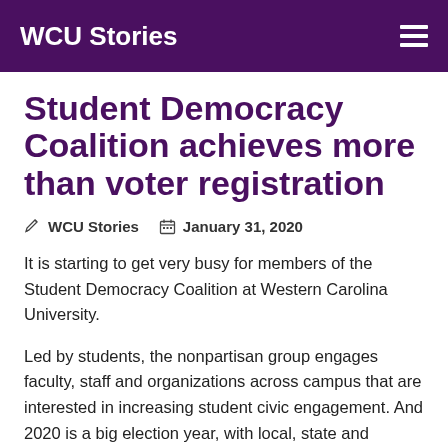WCU Stories
Student Democracy Coalition achieves more than voter registration
WCU Stories   January 31, 2020
It is starting to get very busy for members of the Student Democracy Coalition at Western Carolina University.
Led by students, the nonpartisan group engages faculty, staff and organizations across campus that are interested in increasing student civic engagement. And 2020 is a big election year, with local, state and presidential races at stake.